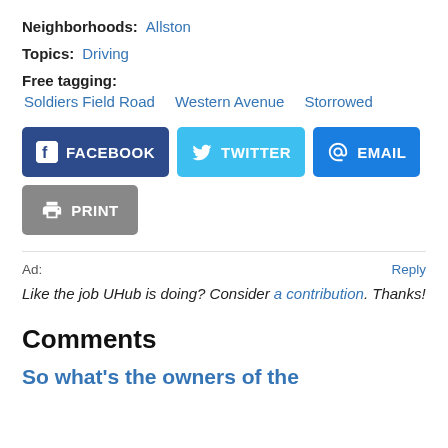Neighborhoods: Allston
Topics: Driving
Free tagging:
Soldiers Field Road
Western Avenue
Storrowed
[Figure (other): Social share buttons: FACEBOOK, TWITTER, EMAIL, PRINT]
Ad: Reply
Like the job UHub is doing? Consider a contribution. Thanks!
Comments
So what's the owners of the